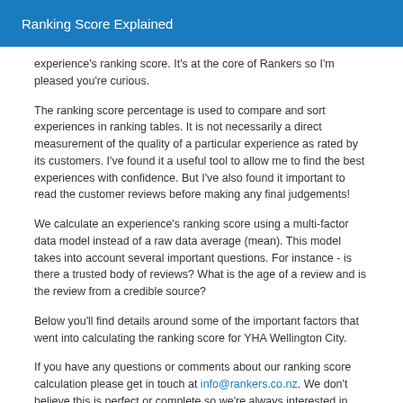Ranking Score Explained
experience's ranking score. It's at the core of Rankers so I'm pleased you're curious.
The ranking score percentage is used to compare and sort experiences in ranking tables. It is not necessarily a direct measurement of the quality of a particular experience as rated by its customers. I've found it a useful tool to allow me to find the best experiences with confidence. But I've also found it important to read the customer reviews before making any final judgements!
We calculate an experience's ranking score using a multi-factor data model instead of a raw data average (mean). This model takes into account several important questions. For instance - is there a trusted body of reviews? What is the age of a review and is the review from a credible source?
Below you'll find details around some of the important factors that went into calculating the ranking score for YHA Wellington City.
If you have any questions or comments about our ranking score calculation please get in touch at info@rankers.co.nz. We don't believe this is perfect or complete so we're always interested in